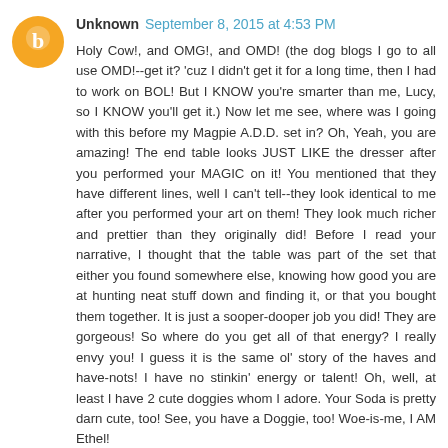Unknown  September 8, 2015 at 4:53 PM
Holy Cow!, and OMG!, and OMD! (the dog blogs I go to all use OMD!--get it? 'cuz I didn't get it for a long time, then I had to work on BOL! But I KNOW you're smarter than me, Lucy, so I KNOW you'll get it.) Now let me see, where was I going with this before my Magpie A.D.D. set in? Oh, Yeah, you are amazing! The end table looks JUST LIKE the dresser after you performed your MAGIC on it! You mentioned that they have different lines, well I can't tell--they look identical to me after you performed your art on them! They look much richer and prettier than they originally did! Before I read your narrative, I thought that the table was part of the set that either you found somewhere else, knowing how good you are at hunting neat stuff down and finding it, or that you bought them together. It is just a sooper-dooper job you did! They are gorgeous! So where do you get all of that energy? I really envy you! I guess it is the same ol' story of the haves and have-nots! I have no stinkin' energy or talent! Oh, well, at least I have 2 cute doggies whom I adore. Your Soda is pretty darn cute, too! See, you have a Doggie, too! Woe-is-me, I AM Ethel!